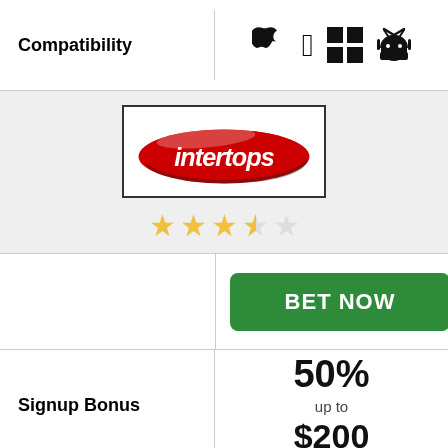Compatibility
[Figure (logo): Intertops logo — red ellipse swoosh with white italic text 'intertops']
[Figure (infographic): Star rating: 3.5 out of 5 stars (4 filled, 1 half, 1 empty shown as 3 gold + 1 half gold + 1 outline)]
BET NOW
Signup Bonus
50% up to $200